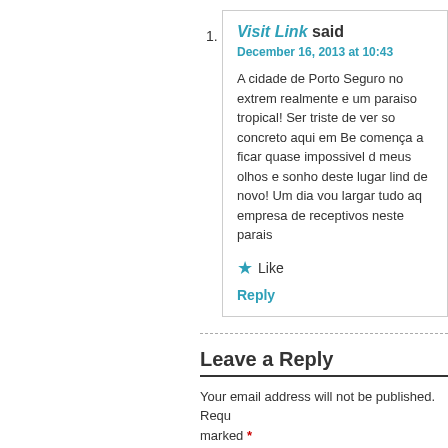1. Visit Link said
December 16, 2013 at 10:43
A cidade de Porto Seguro no extrem realmente e um paraiso tropical! Ser triste de ver so concreto aqui em Be comença a ficar quase impossivel d meus olhos e sonho deste lugar lind de novo! Um dia vou largar tudo aq empresa de receptivos neste parais
★ Like
Reply
Leave a Reply
Your email address will not be published. Requ marked *